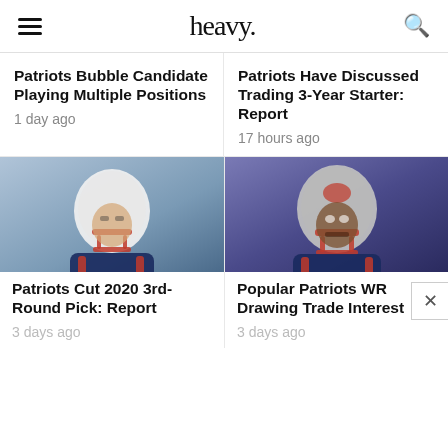heavy.
Patriots Bubble Candidate Playing Multiple Positions
1 day ago
Patriots Have Discussed Trading 3-Year Starter: Report
17 hours ago
[Figure (photo): New England Patriots player in white helmet with red face mask and navy/red jersey]
Patriots Cut 2020 3rd-Round Pick: Report
3 days ago
[Figure (photo): New England Patriots player in silver helmet with red face mask and blue/red jersey, grimacing]
Popular Patriots WR Drawing Trade Interest
3 days ago